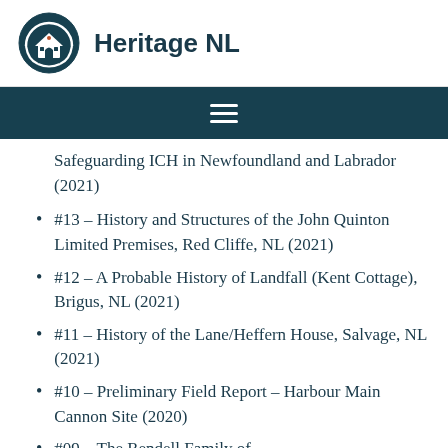Heritage NL
Safeguarding ICH in Newfoundland and Labrador (2021)
#13 – History and Structures of the John Quinton Limited Premises, Red Cliffe, NL (2021)
#12 – A Probable History of Landfall (Kent Cottage), Brigus, NL (2021)
#11 – History of the Lane/Heffern House, Salvage, NL (2021)
#10 – Preliminary Field Report – Harbour Main Cannon Site (2020)
#09 – The Rendell Family of